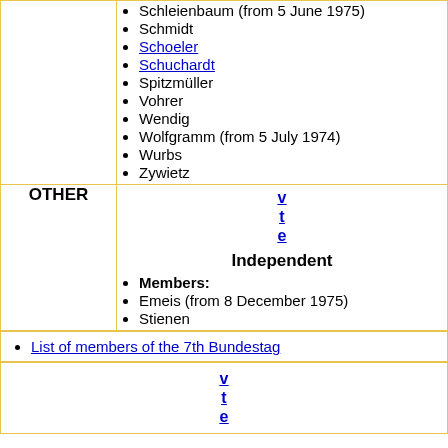Schleienbaum (from 5 June 1975)
Schmidt
Schoeler
Schuchardt
Spitzmüller
Vohrer
Wendig
Wolfgramm (from 5 July 1974)
Wurbs
Zywietz
v
t
e
OTHER
Independent
Members:
Emeis (from 8 December 1975)
Stienen
List of members of the 7th Bundestag
v
t
e